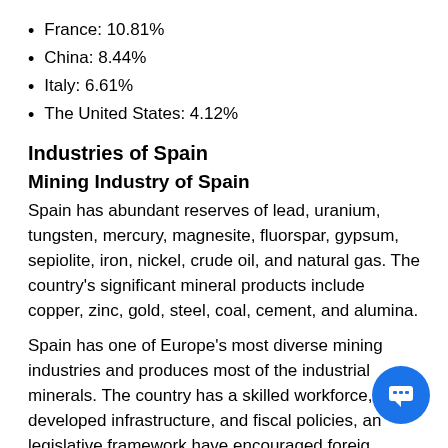France: 10.81%
China: 8.44%
Italy: 6.61%
The United States: 4.12%
Industries of Spain
Mining Industry of Spain
Spain has abundant reserves of lead, uranium, tungsten, mercury, magnesite, fluorspar, gypsum, sepiolite, iron, nickel, crude oil, and natural gas. The country's significant mineral products include copper, zinc, gold, steel, coal, cement, and alumina.
Spain has one of Europe's most diverse mining industries and produces most of the industrial minerals. The country has a skilled workforce, well-developed infrastructure, and fiscal policies, and legislative framework have encouraged foreign investment in its mineral industry.</p>